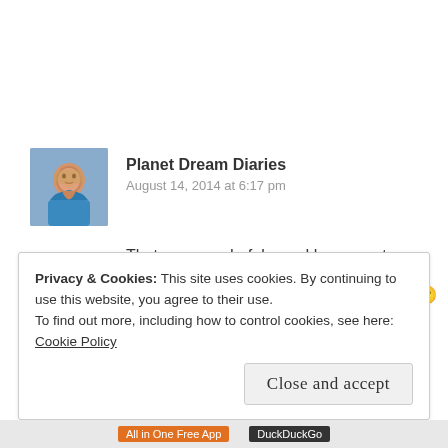Planet Dream Diaries
August 14, 2014 at 6:17 pm
That was wonderful – and how very true.
I think the kitties look like they're in love. 🙂
★ Like
Privacy & Cookies: This site uses cookies. By continuing to use this website, you agree to their use.
To find out more, including how to control cookies, see here: Cookie Policy
Close and accept